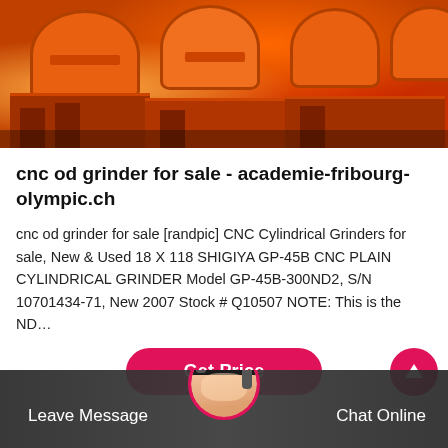[Figure (photo): Photograph of multiple orange industrial CNC cylindrical grinding machines lined up in a manufacturing facility or warehouse.]
cnc od grinder for sale - academie-fribourg-olympic.ch
cnc od grinder for sale [randpic] CNC Cylindrical Grinders for sale, New & Used 18 X 118 SHIGIYA GP-45B CNC PLAIN CYLINDRICAL GRINDER Model GP-45B-300ND2, S/N 10701434-71, New 2007 Stock # Q10507 NOTE: This is the ND…
Get Price
Leave Message
Chat Online